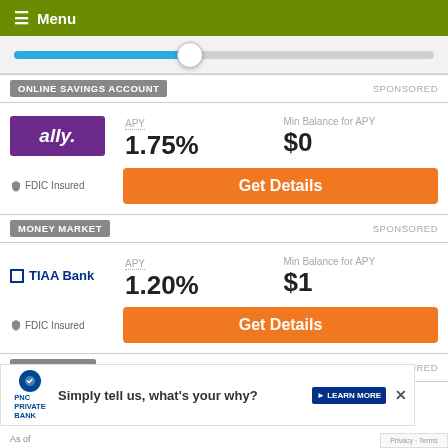≡ Menu
[Figure (other): Horizontal slider control with blue fill on left and white circular thumb at ~42% position, on gray track]
ONLINE SAVINGS ACCOUNT    SPONSORED
[Figure (other): Ally bank logo — white italic text on purple background]
APY 1.75%   Min Balance for APY $0
🛡 FDIC Insured
Get Details
MONEY MARKET    SPONSORED
[Figure (logo): TIAA Bank logo — blue square outline followed by TIAA Bank text in dark blue]
APY 1.20%   Min Balance for APY $1
🛡 FDIC Insured
Get Details
20-MONTH CD    SPONSORED
[Figure (logo): Ally bank logo (partially visible / faded)]
APY    Min Balance for A...
[Figure (other): PNC Private Bank advertisement banner: Simply tell us, what's your why? with LEARN MORE button and close X]
As of ...